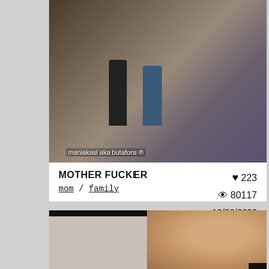[Figure (screenshot): Video thumbnail showing two figures standing in a bedroom scene with watermark text 'maniakasl aka butafors ®']
MOTHER FUCKER
mom / family
♥ 223
👁 80117
13/08/2020
[Figure (screenshot): Video thumbnail showing a young person's face in close-up, with light-colored wall background]